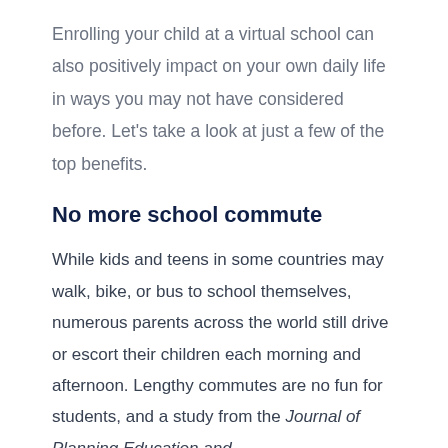Enrolling your child at a virtual school can also positively impact on your own daily life in ways you may not have considered before. Let's take a look at just a few of the top benefits.
No more school commute
While kids and teens in some countries may walk, bike, or bus to school themselves, numerous parents across the world still drive or escort their children each morning and afternoon. Lengthy commutes are no fun for students, and a study from the Journal of Planning Education and